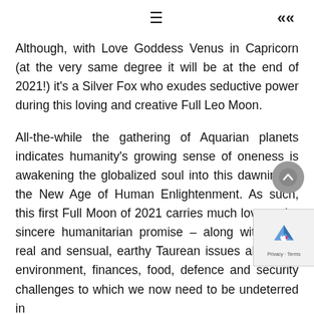≡  «
Although, with Love Goddess Venus in Capricorn (at the very same degree it will be at the end of 2021!) it's a Silver Fox who exudes seductive power during this loving and creative Full Leo Moon.
All-the-while the gathering of Aquarian planets indicates humanity's growing sense of oneness is awakening the globalized soul into this dawning of the New Age of Human Enlightenment. As such, this first Full Moon of 2021 carries much love and a sincere humanitarian promise – along with some real and sensual, earthy Taurean issues about our environment, finances, food, defence and security challenges to which we now need to be undeterred in